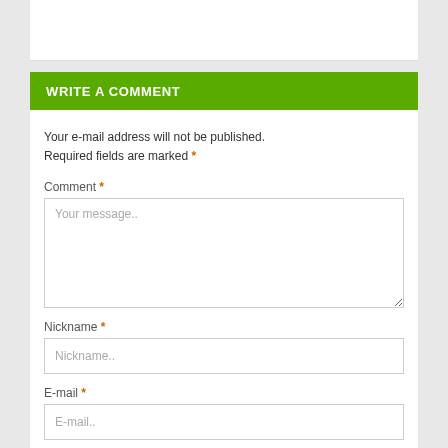WRITE A COMMENT
Your e-mail address will not be published. Required fields are marked *
Comment *
Your message..
Nickname *
Nickname..
E-mail *
E-mail..